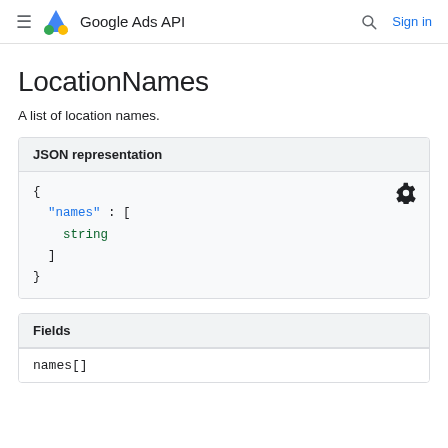Google Ads API — Sign in
LocationNames
A list of location names.
JSON representation
{
  "names": [
    string
  ]
}
Fields
names[]